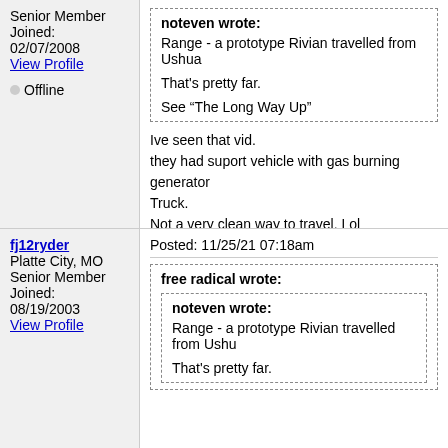Senior Member
Joined: 02/07/2008
View Profile
Offline
noteven wrote:
Range - a prototype Rivian travelled from Ushua
That's pretty far.
See “The Long Way Up”
Ive seen that vid.
they had suport vehicle with gas burning generator
Truck.
Not a very clean way to travel. Lol
At least Tesla has the advantage of largest SCharg
fj12ryder
Platte City, MO
Senior Member
Joined: 08/19/2003
View Profile
Posted: 11/25/21 07:18am
free radical wrote:
noteven wrote:
Range - a prototype Rivian travelled from Ushu
That's pretty far.